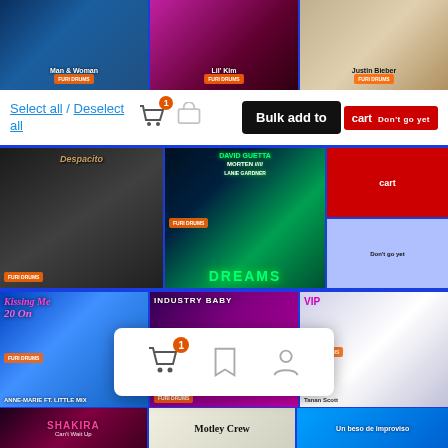[Figure (screenshot): Music streaming app interface showing album artwork grid with bulk selection controls. Top row shows three album/artist thumbnails. A white bar has 'Select all / Deselect all' links, a shopping cart icon with badge '1', another cart icon, and a dark 'Bulk add to' button with 'cart' and 'Don't go yet' text. Middle row shows two large album artworks: a black-and-white couple romance cover and a David Guetta / Morten / Lanie Gardner 'Dreams' cover. Third row shows three album covers: Anne-Marie ft. Little Mix, Industry Baby (Lil Nas X), and Tana Scott (VIP). A white popup shows cart icons with badge '1'. Bottom row shows Shakira, Motley Crew, and 'Un beso de improviso' album thumbnails.]